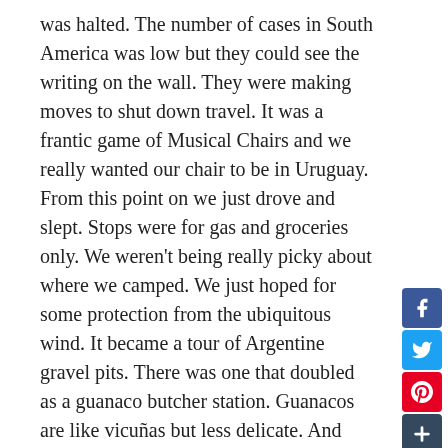was halted. The number of cases in South America was low but they could see the writing on the wall. They were making moves to shut down travel. It was a frantic game of Musical Chairs and we really wanted our chair to be in Uruguay. From this point on we just drove and slept. Stops were for gas and groceries only. We weren't being really picky about where we camped. We just hoped for some protection from the ubiquitous wind. It became a tour of Argentine gravel pits. There was one that doubled as a guanaco butcher station. Guanacos are like vicuñas but less delicate. And they have a gray face. There were sun-dried guts and bits of pelt strewn about. A fox came in the night to shout at us. I think it was disappointed that we were not butchering guanacos. The next night we stayed at a gravel pit by the sea. People had been littering there for so long that there were identifiable plastic layers in the sides of the pit. The view was nice though. After that, we stayed in another roadside pit. This